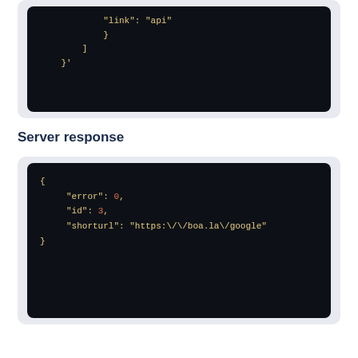[Figure (screenshot): Dark-themed code block showing JSON snippet with 'link': 'api', closing brace and bracket, and }'  at end]
Server response
[Figure (screenshot): Dark-themed code block showing JSON server response: { 'error': 0, 'id': 3, 'shorturl': 'https:\/\/boa.la\/google' }]